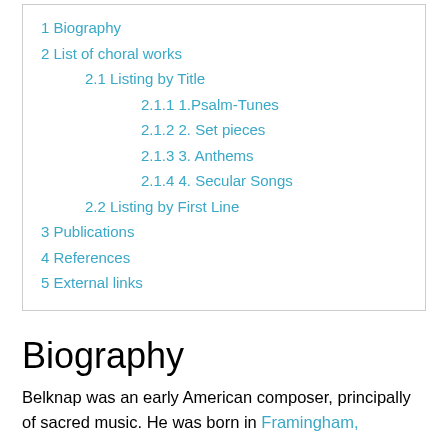1 Biography
2 List of choral works
2.1 Listing by Title
2.1.1 1.Psalm-Tunes
2.1.2 2. Set pieces
2.1.3 3. Anthems
2.1.4 4. Secular Songs
2.2 Listing by First Line
3 Publications
4 References
5 External links
Biography
Belknap was an early American composer, principally of sacred music. He was born in Framingham,